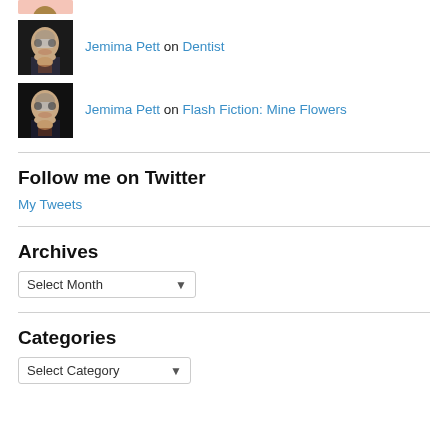[Figure (photo): Partial pink/salmon colored avatar image at top, cropped]
Jemima Pett on Dentist
[Figure (photo): Photo of an older woman with glasses, dark background]
Jemima Pett on Flash Fiction: Mine Flowers
[Figure (photo): Photo of an older woman with glasses, dark background]
Follow me on Twitter
My Tweets
Archives
Select Month
Categories
Select Category